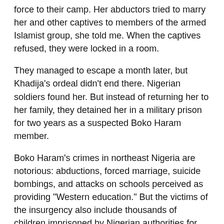force to their camp. Her abductors tried to marry her and other captives to members of the armed Islamist group, she told me. When the captives refused, they were locked in a room.
They managed to escape a month later, but Khadija's ordeal didn't end there. Nigerian soldiers found her. But instead of returning her to her family, they detained her in a military prison for two years as a suspected Boko Haram member.
Boko Haram's crimes in northeast Nigeria are notorious: abductions, forced marriage, suicide bombings, and attacks on schools perceived as providing "Western education." But the victims of the insurgency also include thousands of children imprisoned by Nigerian authorities for suspected Boko Haram involvement, often with little or no evidence.
Since 2012, the United States has spent over US$100 million to help Nigerian authorities try to defeat Boko